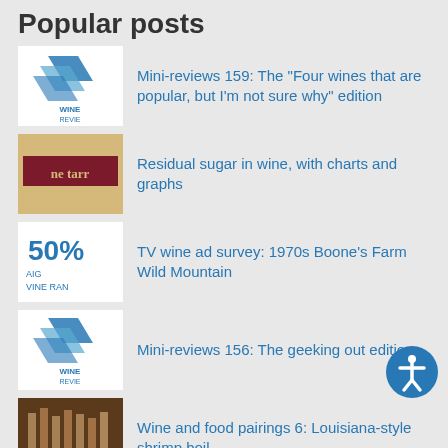Popular posts
Mini-reviews 159: The "Four wines that are popular, but I'm not sure why" edition
Residual sugar in wine, with charts and graphs
TV wine ad survey: 1970s Boone's Farm Wild Mountain
Mini-reviews 156: The geeking out edition
Wine and food pairings 6: Louisiana-style shrimp boil
Categories